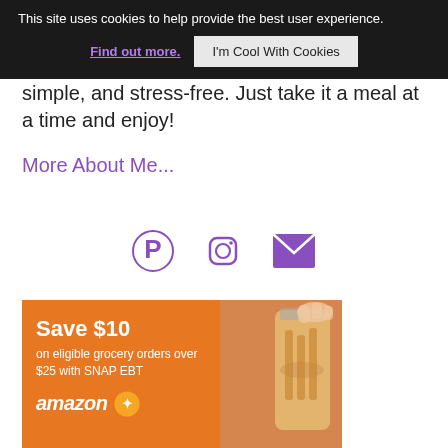This site uses cookies to help provide the best user experience. Find out more. I'm Cool With Cookies
simple, and stress-free. Just take it a meal at a time and enjoy!
More About Me...
[Figure (infographic): Three social media icons: Pinterest (P), Instagram (camera), and email (envelope), all in purple color]
[Figure (infographic): Amazon ad banner with orange background. Text: Save $10 on eligible grocery orders over $25 with SNAP EBT. Amazon logo with Fresh logo. A photo of hands pouring pasta.]